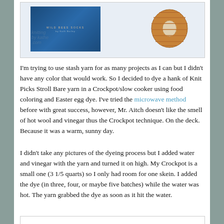[Figure (photo): A book cover for 'Wild Bees Socks' shown against a light blue background, with an orange/golden knitted sock skein visible to the right. A watermark reads 'knitting by kathe .com' overlaid on the image.]
I'm trying to use stash yarn for as many projects as I can but I didn't have any color that would work. So I decided to dye a hank of Knit Picks Stroll Bare yarn in a Crockpot/slow cooker using food coloring and Easter egg dye. I've tried the microwave method before with great success, however, Mr. Aitch doesn't like the smell of hot wool and vinegar thus the Crockpot technique. On the deck. Because it was a warm, sunny day.
I didn't take any pictures of the dyeing process but I added water and vinegar with the yarn and turned it on high. My Crockpot is a small one (3 1/5 quarts) so I only had room for one skein. I added the dye (in three, four, or maybe five batches) while the water was hot. The yarn grabbed the dye as soon as it hit the water.